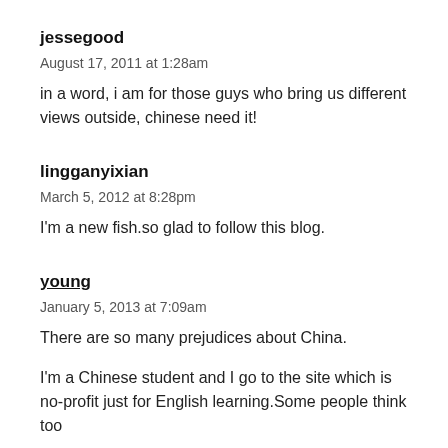jessegood
August 17, 2011 at 1:28am
in a word, i am for those guys who bring us different views outside, chinese need it!
lingganyixian
March 5, 2012 at 8:28pm
I'm a new fish.so glad to follow this blog.
young
January 5, 2013 at 7:09am
There are so many prejudices about China.
I'm a Chinese student and I go to the site which is no-profit just for English learning.Some people think too